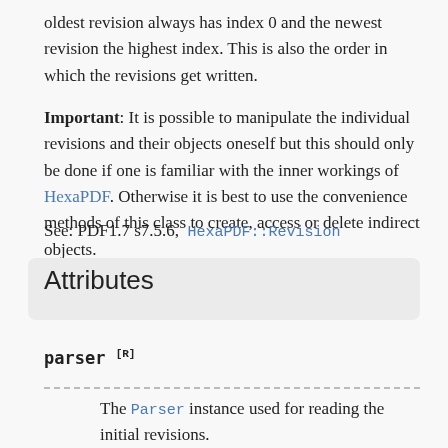oldest revision always has index 0 and the newest revision the highest index. This is also the order in which the revisions get written.
Important: It is possible to manipulate the individual revisions and their objects oneself but this should only be done if one is familiar with the inner workings of HexaPDF. Otherwise it is best to use the convenience methods of this class to create, access or delete indirect objects.
See: PDF1.7 s7.5.6,  HexaPDF::Revision
Attributes
parser [R]
The Parser instance used for reading the initial revisions.